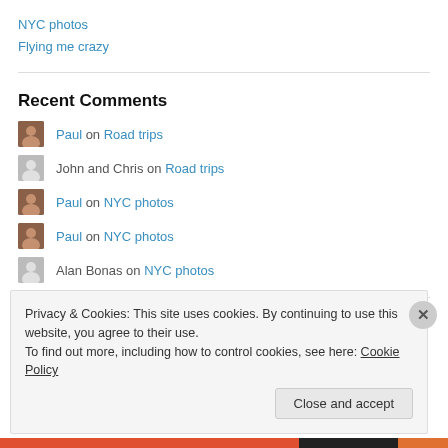NYC photos
Flying me crazy
Recent Comments
Paul on Road trips
John and Chris on Road trips
Paul on NYC photos
Paul on NYC photos
Alan Bonas on NYC photos
Privacy & Cookies: This site uses cookies. By continuing to use this website, you agree to their use. To find out more, including how to control cookies, see here: Cookie Policy
Close and accept